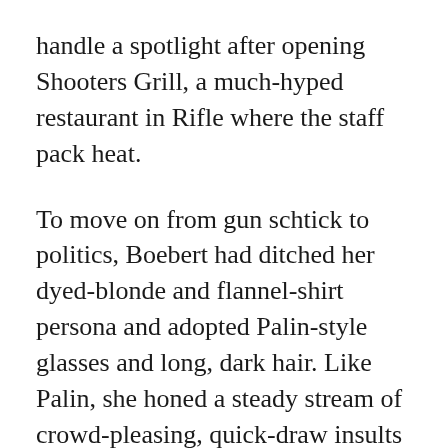handle a spotlight after opening Shooters Grill, a much-hyped restaurant in Rifle where the staff pack heat.
To move on from gun schtick to politics, Boebert had ditched her dyed-blonde and flannel-shirt persona and adopted Palin-style glasses and long, dark hair. Like Palin, she honed a steady stream of crowd-pleasing, quick-draw insults aimed at anyone who didn't share her ultraconservative views. Those who did ate it up.
“We’ve never seen a candidate like Lauren — ever,” enthused Edward Wilks, a Rifle gun shop owner, former cop and member of the